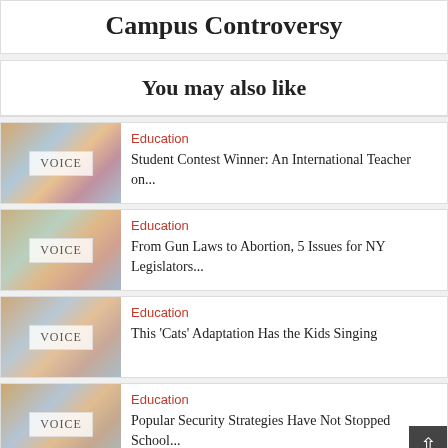Campus Controversy
You may also like
Education
Student Contest Winner: An International Teacher on...
Education
From Gun Laws to Abortion, 5 Issues for NY Legislators...
Education
This 'Cats' Adaptation Has the Kids Singing
Education
Popular Security Strategies Have Not Stopped School...
Education